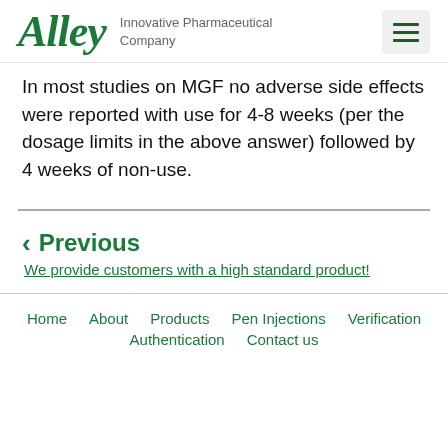Alley — Innovative Pharmaceutical Company
In most studies on MGF no adverse side effects were reported with use for 4-8 weeks (per the dosage limits in the above answer) followed by 4 weeks of non-use.
< Previous
We provide customers with a high standard product!
Home  About  Products  Pen Injections  Verification  Authentication  Contact us